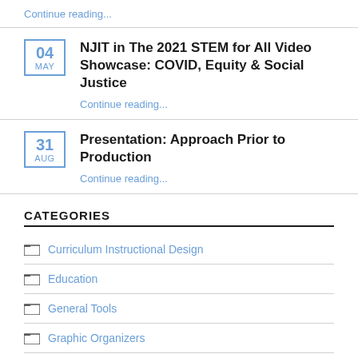Continue reading...
NJIT in The 2021 STEM for All Video Showcase: COVID, Equity & Social Justice
Continue reading...
Presentation: Approach Prior to Production
Continue reading...
CATEGORIES
Curriculum Instructional Design
Education
General Tools
Graphic Organizers